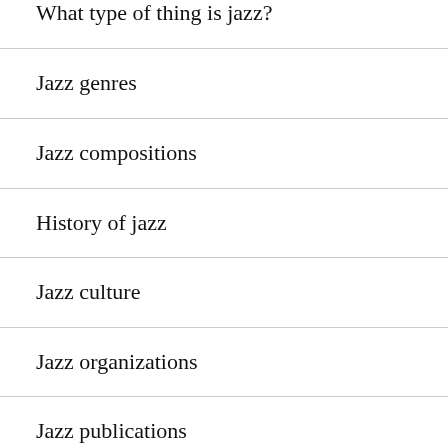What type of thing is jazz?
Jazz genres
Jazz compositions
History of jazz
Jazz culture
Jazz organizations
Jazz publications